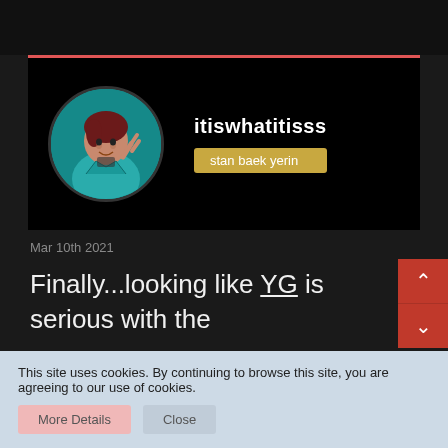[Figure (screenshot): Social media profile banner with circular avatar photo of a person making a peace sign, wearing a teal jacket, with username 'itiswhatitisss' and tag 'stan baek yerin' on black background with red top border]
Mar 10th 2021
Finally...looking like YG is serious with the promo for Rose
[Figure (illustration): Red cartoon cat/fox emoji face]
This site uses cookies. By continuing to browse this site, you are agreeing to our use of cookies.